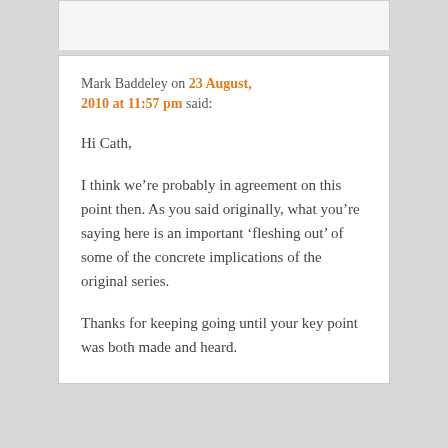Mark Baddeley on 23 August, 2010 at 11:57 pm said:
Hi Cath,

I think we’re probably in agreement on this point then. As you said originally, what you’re saying here is an important ‘fleshing out’ of some of the concrete implications of the original series.

Thanks for keeping going until your key point was both made and heard.